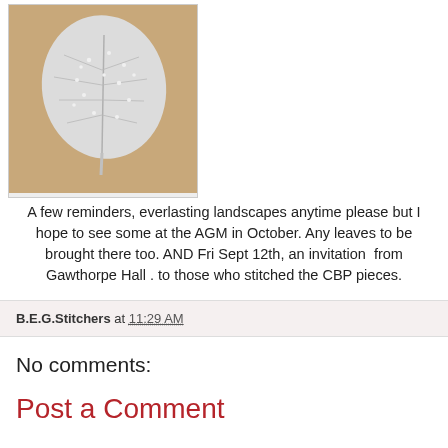[Figure (photo): A white decorative leaf-shaped embroidery or craft piece placed on a wooden/tan surface. The leaf has textured beading or embroidery details and a small stem.]
A few reminders, everlasting landscapes anytime please but I hope to see some at the AGM in October. Any leaves to be brought there too. AND Fri Sept 12th, an invitation  from Gawthorpe Hall . to those who stitched the CBP pieces.
B.E.G.Stitchers at 11:29 AM
No comments:
Post a Comment